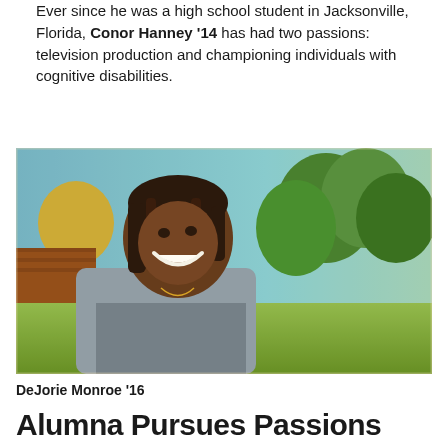Ever since he was a high school student in Jacksonville, Florida, Conor Hanney '14 has had two passions: television production and championing individuals with cognitive disabilities.
[Figure (photo): Outdoor photo of DeJorie Monroe '16, a smiling young woman with braided hair wearing an off-shoulder gray top, with trees and green grass in the background on a sunny day.]
DeJorie Monroe '16
Alumna Pursues Passions